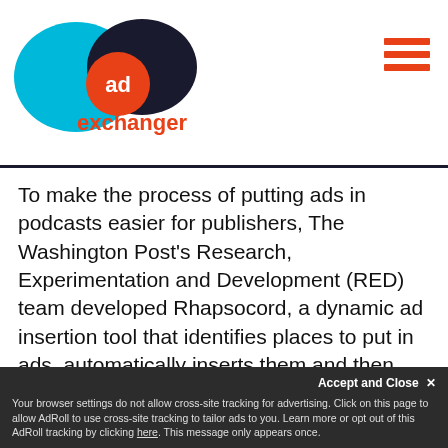[Figure (logo): AdExchanger logo — overlapping teal and dark navy ovals with orange circle containing 'ad' text, and 'exchanger' text below in orange]
To make the process of putting ads in podcasts easier for publishers, The Washington Post's Research, Experimentation and Development (RED) team developed Rhapsocord, a dynamic ad insertion tool that identifies places to put in ads, automatically inserts them and then sends the file to different podcast platforms.
Rhapsocord automatically identifies pre-roll, midroll and post-roll spots, inserts ads and updates the files, so producers don't have to manually re-edit a podcast.
The tech also stores metadata about each podcast
Accept and Close ✕
Your browser settings do not allow cross-site tracking for advertising. Click on this page to allow AdRoll to use cross-site tracking to tailor ads to you. Learn more or opt out of this AdRoll tracking by clicking here. This message only appears once.